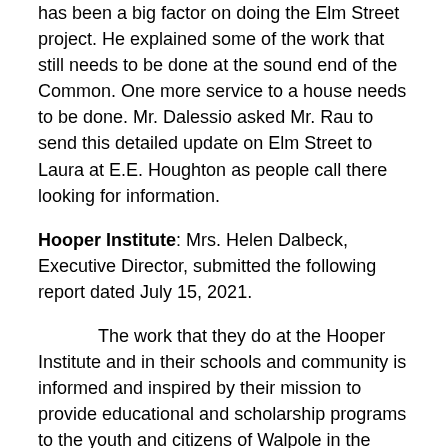has been a big factor on doing the Elm Street project.  He explained some of the work that still needs to be done at the sound end of the Common.  One more service to a house needs to be done.  Mr. Dalessio asked Mr. Rau to send this detailed update on Elm Street to Laura at E.E. Houghton as people call there looking for information.
Hooper Institute:  Mrs. Helen Dalbeck, Executive Director, submitted the following report dated July 15, 2021.
The work that they do at the Hooper Institute and in their schools and community is informed and inspired by their mission to provide educational and scholarship programs to the youth and citizens of Walpole in the following focus areas: agriculture, forestry, botany, soils and environmental science.